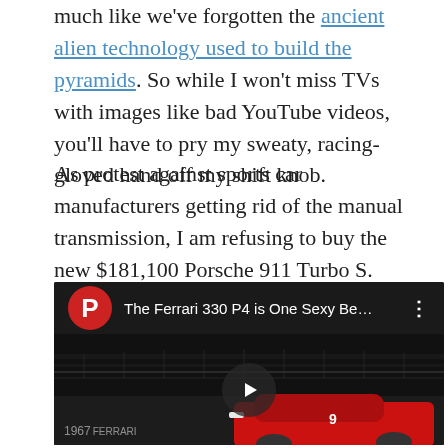much like we've forgotten the ancient alien technology used to build the pyramids. So while I won't miss TVs with images like bad YouTube videos, you'll have to pry my sweaty, racing-gloved hand off my shift knob.
As protest against sports car manufacturers getting rid of the manual transmission, I am refusing to buy the new $181,100 Porsche 911 Turbo S. Unless I win the lottery.
[Figure (screenshot): Embedded YouTube video player showing 'The Ferrari 330 P4 is One Sexy Be...' with a red P logo, dark background, and a Ferrari 330 P4 race car visible at the bottom. A play button is centered on the video.]